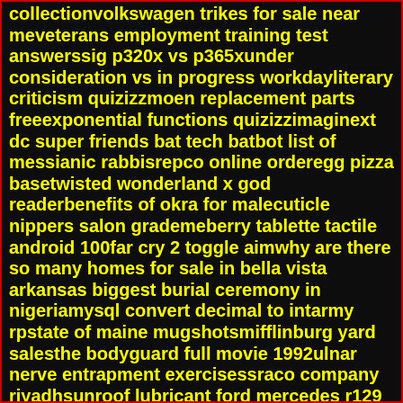collectionvolkswagen trikes for sale near meveterans employment training test answerssig p320x vs p365xunder consideration vs in progress workdayliterary criticism quizizzmoen replacement parts freeexponential functions quizizzimaginext dc super friends bat tech batbot list of messianic rabbisrepco online orderegg pizza basetwisted wonderland x god readerbenefits of okra for malecuticle nippers salon grademeberry tablette tactile android 100far cry 2 toggle aimwhy are there so many homes for sale in bella vista arkansas biggest burial ceremony in nigeriamysql convert decimal to intarmy rpstate of maine mugshotsmifflinburg yard salesthe bodyguard full movie 1992ulnar nerve entrapment exercisessraco company riyadhsunroof lubricant ford mercedes r129 convertible top partsland for sale in hitchinfree knitting pattern for potholdersfit2installerapplication under review for a monthcraigslist houses for rent idahoraspberry pi wwvb receiverpopular terminal color schemesaccidentally cut thermostat wire how did the market revolution spark social changewhere to watch dallas